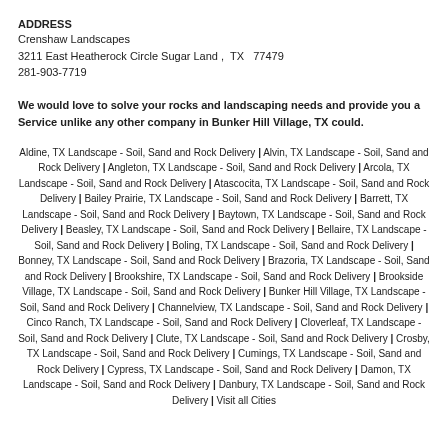ADDRESS
Crenshaw Landscapes
3211 East Heatherock Circle Sugar Land ,  TX   77479
281-903-7719
We would love to solve your rocks and landscaping needs and provide you a Service unlike any other company in Bunker Hill Village, TX could.
Aldine, TX Landscape - Soil, Sand and Rock Delivery | Alvin, TX Landscape - Soil, Sand and Rock Delivery | Angleton, TX Landscape - Soil, Sand and Rock Delivery | Arcola, TX Landscape - Soil, Sand and Rock Delivery | Atascocita, TX Landscape - Soil, Sand and Rock Delivery | Bailey Prairie, TX Landscape - Soil, Sand and Rock Delivery | Barrett, TX Landscape - Soil, Sand and Rock Delivery | Baytown, TX Landscape - Soil, Sand and Rock Delivery | Beasley, TX Landscape - Soil, Sand and Rock Delivery | Bellaire, TX Landscape - Soil, Sand and Rock Delivery | Boling, TX Landscape - Soil, Sand and Rock Delivery | Bonney, TX Landscape - Soil, Sand and Rock Delivery | Brazoria, TX Landscape - Soil, Sand and Rock Delivery | Brookshire, TX Landscape - Soil, Sand and Rock Delivery | Brookside Village, TX Landscape - Soil, Sand and Rock Delivery | Bunker Hill Village, TX Landscape - Soil, Sand and Rock Delivery | Channelview, TX Landscape - Soil, Sand and Rock Delivery | Cinco Ranch, TX Landscape - Soil, Sand and Rock Delivery | Cloverleaf, TX Landscape - Soil, Sand and Rock Delivery | Clute, TX Landscape - Soil, Sand and Rock Delivery | Crosby, TX Landscape - Soil, Sand and Rock Delivery | Cumings, TX Landscape - Soil, Sand and Rock Delivery | Cypress, TX Landscape - Soil, Sand and Rock Delivery | Damon, TX Landscape - Soil, Sand and Rock Delivery | Danbury, TX Landscape - Soil, Sand and Rock Delivery | Visit all Cities